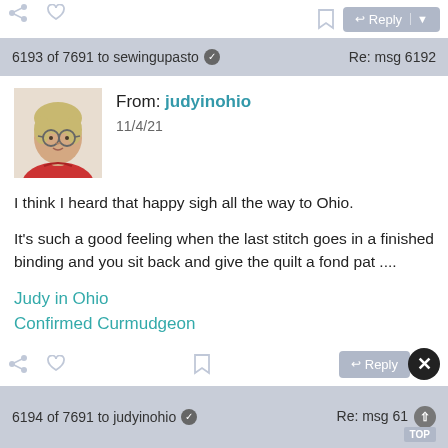6193 of 7691 to sewingupasto  Re: msg 6192
[Figure (photo): Profile photo of judyinohio, an older woman with short blonde hair and glasses, wearing a red top]
From: judyinohio
11/4/21
I think I heard that happy sigh all the way to Ohio.
It's such a good feeling when the last stitch goes in a finished binding and you sit back and give the quilt a fond pat ....
Judy in Ohio
Confirmed Curmudgeon
Professional Enabler
Flickr Photos
6194 of 7691 to judyinohio  Re: msg 6193